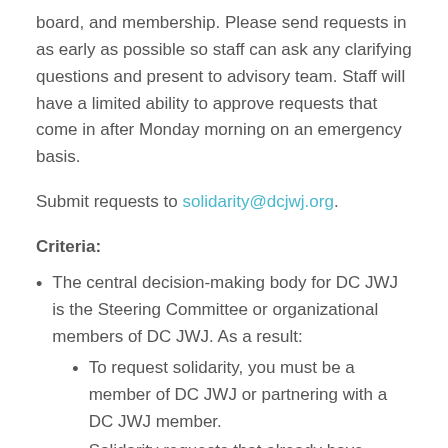board, and membership. Please send requests in as early as possible so staff can ask any clarifying questions and present to advisory team. Staff will have a limited ability to approve requests that come in after Monday morning on an emergency basis.
Submit requests to solidarity@dcjwj.org.
Criteria:
The central decision-making body for DC JWJ is the Steering Committee or organizational members of DC JWJ. As a result:
To request solidarity, you must be a member of DC JWJ or partnering with a DC JWJ member.
Solidarity requests that already have